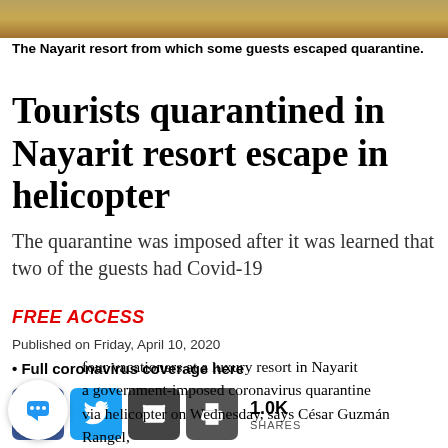[Figure (photo): Photo strip of the Nayarit resort, showing brown/golden natural scenery]
The Nayarit resort from which some guests escaped quarantine.
Tourists quarantined in Nayarit resort escape in helicopter
The quarantine was imposed after it was learned that two of the guests had Covid-19
FREE ACCESS
Published on Friday, April 10, 2020
• Full coronavirus coverage here
[Figure (infographic): Social sharing buttons: Facebook, Twitter, Email, Print; 1.0K SHARES]
four vacationers at a luxury resort in Nayarit a government-imposed coronavirus quarantine via helicopter on Wednesday, says César Guzmán Rangel,